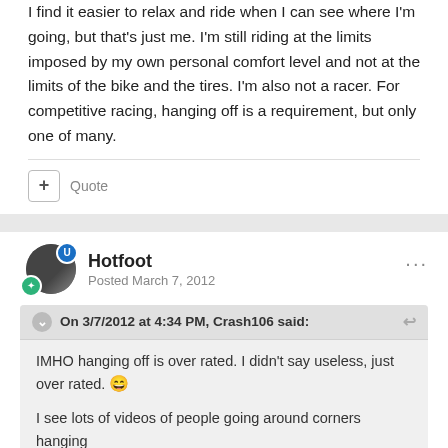I find it easier to relax and ride when I can see where I'm going, but that's just me. I'm still riding at the limits imposed by my own personal comfort level and not at the limits of the bike and the tires. I'm also not a racer. For competitive racing, hanging off is a requirement, but only one of many.
+ Quote
Hotfoot
Posted March 7, 2012
On 3/7/2012 at 4:34 PM, Crash106 said:
IMHO hanging off is over rated. I didn't say useless, just over rated. 😄

I see lots of videos of people going around corners hanging